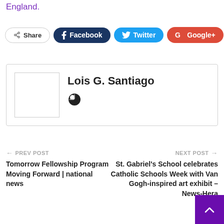England.
[Figure (infographic): Social share bar with Share, Facebook, Twitter, Google+, and more (+) buttons]
[Figure (infographic): Author box for Lois G. Santiago with placeholder photo and globe icon]
← PREV POST
Tomorrow Fellowship Program Moving Forward | national news
NEXT POST →
St. Gabriel's School celebrates Catholic Schools Week with Van Gogh-inspired art exhibit – News-Hera